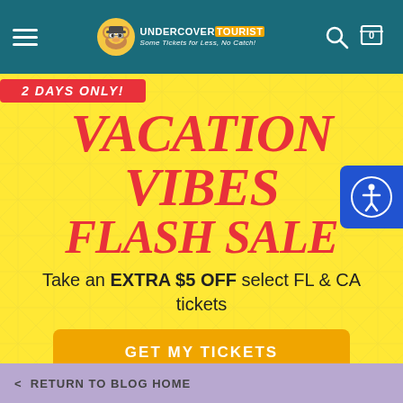Undercover Tourist — Some Tickets for Less, No Catch!
2 DAYS ONLY!
VACATION VIBES FLASH SALE
Take an EXTRA $5 OFF select FL & CA tickets
GET MY TICKETS
Offer applied in cart. Expires midnight 8/30/22.
< RETURN TO BLOG HOME